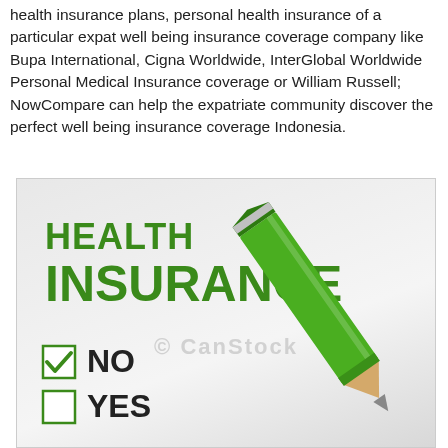health insurance plans, personal health insurance of a particular expat well being insurance coverage company like Bupa International, Cigna Worldwide, InterGlobal Worldwide Personal Medical Insurance coverage or William Russell; NowCompare can help the expatriate community discover the perfect well being insurance coverage Indonesia.
[Figure (illustration): Health insurance illustration showing 'HEALTH INSURANCE' text in bold green, a checkbox with checkmark next to 'NO', an empty checkbox next to 'YES', and a large green pencil. Watermark reads '© CanStock'.]